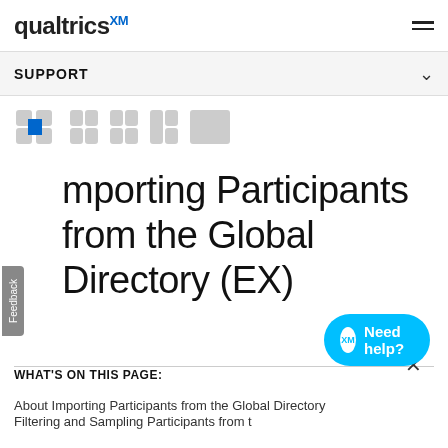qualtrics XM — navigation bar with hamburger menu
SUPPORT
[Figure (logo): Qualtrics CoreXM breadcrumb icon row — gray and blue segmented square icons]
Importing Participants from the Global Directory (EX)
WHAT'S ON THIS PAGE:
About Importing Participants from the Global Directory
Filtering and Sampling Participants from t…
[Figure (screenshot): Chat widget with 'What can I help you find?' bubble and 'Need help?' button in cyan]